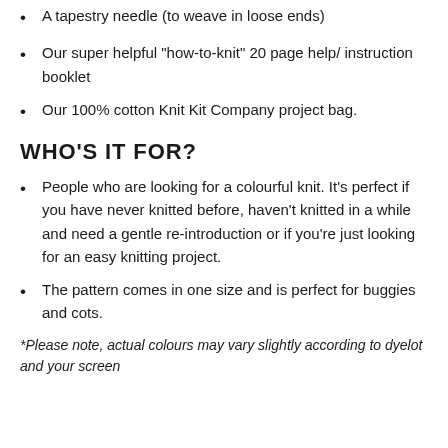A tapestry needle (to weave in loose ends)
Our super helpful "how-to-knit" 20 page help/ instruction booklet
Our 100% cotton Knit Kit Company project bag.
WHO'S IT FOR?
People who are looking for a colourful knit. It's perfect if you have never knitted before, haven't knitted in a while and need a gentle re-introduction or if you're just looking for an easy knitting project.
The pattern comes in one size and is perfect for buggies and cots.
*Please note, actual colours may vary slightly according to dyelot and your screen